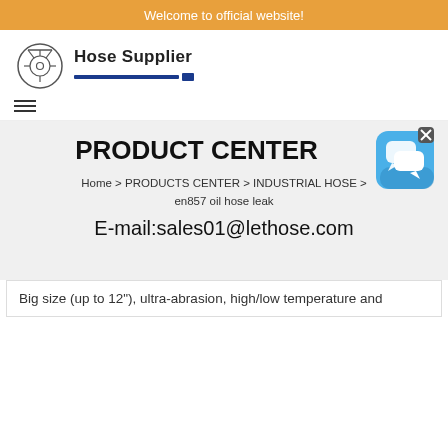Welcome to official website!
[Figure (logo): Hose Supplier company logo with mechanical hose icon and blue underline]
PRODUCT CENTER
Home > PRODUCTS CENTER > INDUSTRIAL HOSE > en857 oil hose leak
E-mail:sales01@lethose.com
[Figure (illustration): Blue chat/messaging widget icon with white speech bubbles and X close button]
Big size (up to 12"), ultra-abrasion, high/low temperature and